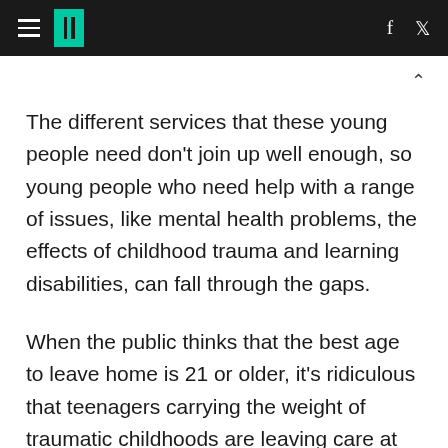HuffPost navigation with hamburger menu, logo, Facebook and Twitter icons
The different services that these young people need don't join up well enough, so young people who need help with a range of issues, like mental health problems, the effects of childhood trauma and learning disabilities, can fall through the gaps.
When the public thinks that the best age to leave home is 21 or older, it's ridiculous that teenagers carrying the weight of traumatic childhoods are leaving care at 16 or 17. Even for those people leaving later than this, many of them are not emotionally prepared for the demands of...